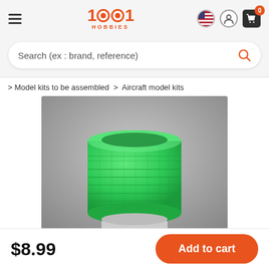[Figure (logo): 1001 Hobbies logo in orange with hamburger menu and header icons (US flag, user, shopping cart with 0 badge)]
Search (ex : brand, reference)
> Model kits to be assembled  >  Aircraft model kits
[Figure (photo): Close-up photo of a green plastic bottle cap/container on a grey background, part of a model kit product]
$8.99
Add to cart